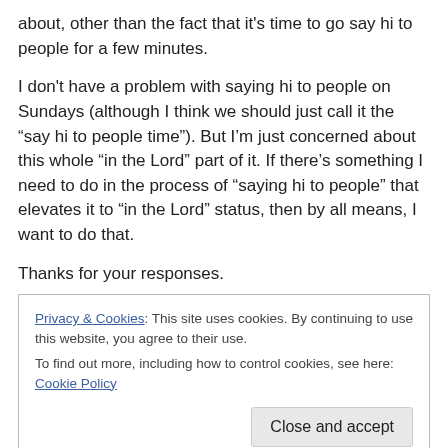about, other than the fact that it's time to go say hi to people for a few minutes.
I don't have a problem with saying hi to people on Sundays (although I think we should just call it the “say hi to people time”). But I’m just concerned about this whole “in the Lord” part of it. If there’s something I need to do in the process of “saying hi to people” that elevates it to “in the Lord” status, then by all means, I want to do that.
Thanks for your responses.
Privacy & Cookies: This site uses cookies. By continuing to use this website, you agree to their use. To find out more, including how to control cookies, see here: Cookie Policy